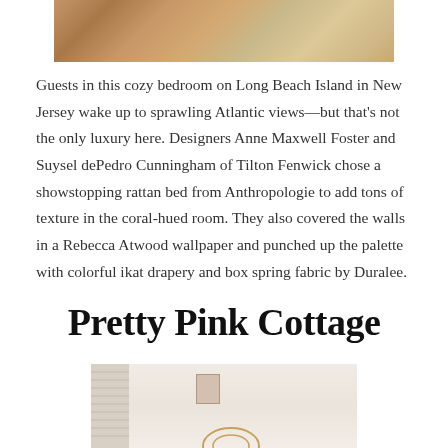[Figure (photo): Top portion of a bedroom photo showing a rattan bed with coral-hued decor on Long Beach Island]
Guests in this cozy bedroom on Long Beach Island in New Jersey wake up to sprawling Atlantic views—but that's not the only luxury here. Designers Anne Maxwell Foster and Suysel dePedro Cunningham of Tilton Fenwick chose a showstopping rattan bed from Anthropologie to add tons of texture in the coral-hued room. They also covered the walls in a Rebecca Atwood wallpaper and punched up the palette with colorful ikat drapery and box spring fabric by Duralee.
Pretty Pink Cottage
[Figure (photo): Bottom portion of a pink cottage interior photo showing a light-colored room with a small framed artwork on the wall and circular decorative elements]